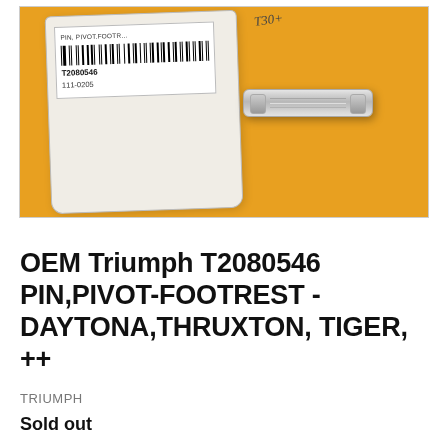[Figure (photo): Photo of OEM Triumph T2080546 pivot-footrest pin in original packaging on an orange/yellow background. The white plastic bag shows a label with barcode, part number T2080546, and code 111-0205. A silver cylindrical pin is visible outside the bag.]
OEM Triumph T2080546 PIN,PIVOT-FOOTREST - DAYTONA,THRUXTON, TIGER, ++
TRIUMPH
Sold out